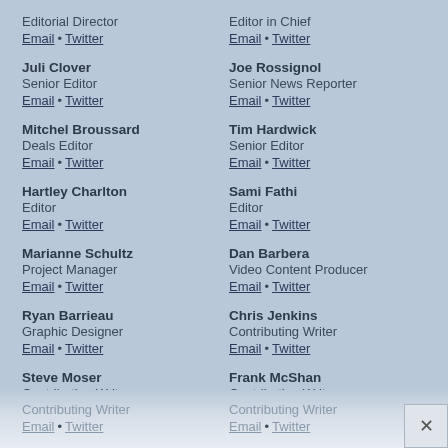Editorial Director
Email • Twitter
Editor in Chief
Email • Twitter
Juli Clover
Senior Editor
Email • Twitter
Joe Rossignol
Senior News Reporter
Email • Twitter
Mitchel Broussard
Deals Editor
Email • Twitter
Tim Hardwick
Senior Editor
Email • Twitter
Hartley Charlton
Editor
Email • Twitter
Sami Fathi
Editor
Email • Twitter
Marianne Schultz
Project Manager
Email • Twitter
Dan Barbera
Video Content Producer
Email • Twitter
Ryan Barrieau
Graphic Designer
Email • Twitter
Chris Jenkins
Contributing Writer
Email • Twitter
Steve Moser
Contributing Writer
Email • Twitter
Frank McShan
Contributing Writer
Email • Twitter